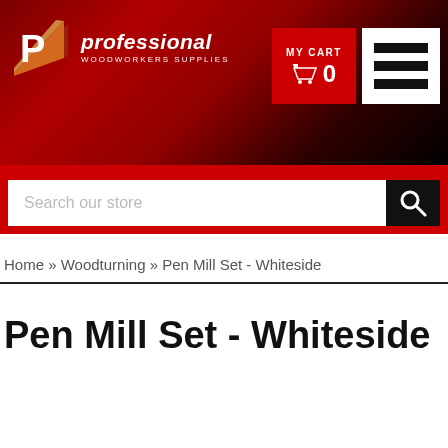[Figure (logo): Professional Woodworkers Supplies logo with red P shape and white text on dark red/black gradient header background]
MY CART 0
Search our store
Home » Woodturning » Pen Mill Set - Whiteside
Pen Mill Set - Whiteside